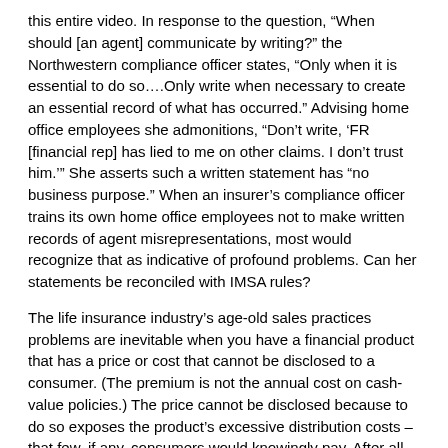this entire video. In response to the question, "When should [an agent] communicate by writing?" the Northwestern compliance officer states, "Only when it is essential to do so….Only write when necessary to create an essential record of what has occurred." Advising home office employees she admonitions, "Don't write, 'FR [financial rep] has lied to me on other claims. I don't trust him.'" She asserts such a written statement has "no business purpose." When an insurer's compliance officer trains its own home office employees not to make written records of agent misrepresentations, most would recognize that as indicative of profound problems. Can her statements be reconciled with IMSA rules?
The life insurance industry's age-old sales practices problems are inevitable when you have a financial product that has a price or cost that cannot be disclosed to a consumer. (The premium is not the annual cost on cash-value policies.) The price cannot be disclosed because to do so exposes the product's excessive distribution costs – that few, if any, consumers would knowingly pay. After all, there is nothing proprietary about cash-value life insurance that justifies the value that agents extract from consumers when they sell policies with the industry's traditional, excessive sales loads. This is why the industry and its agents have fought for decades to prevent appropriate disclosure of cash-value policies. The insurance industry knows that no consumers would pay such excessive costs. Well now, unless of course you say I've been speaking Swahili, you and other consumers know, as well.*